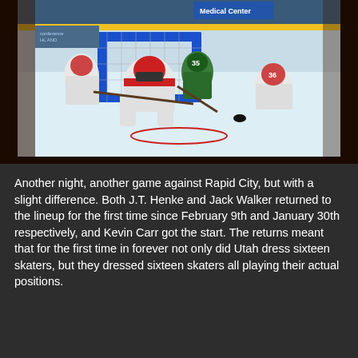[Figure (photo): Ice hockey game action photo showing players near the goal net. Goalie in white and red gear is defending while players in white uniforms and a player in green jersey compete for the puck. Arena boards visible in background with partial text 'Medical Center'.]
Another night, another game against Rapid City, but with a slight difference. Both J.T. Henke and Jack Walker returned to the lineup for the first time since February 9th and January 30th respectively, and Kevin Carr got the start. The returns meant that for the first time in forever not only did Utah dress sixteen skaters, but they dressed sixteen skaters all playing their actual positions.